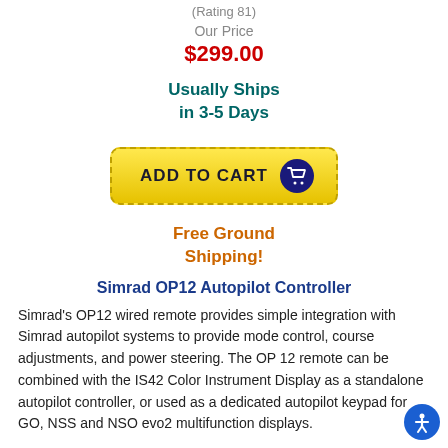(Rating 81)
Our Price
$299.00
Usually Ships in 3-5 Days
[Figure (other): Add to Cart button with shopping cart icon]
Free Ground Shipping!
Simrad OP12 Autopilot Controller
Simrad's OP12 wired remote provides simple integration with Simrad autopilot systems to provide mode control, course adjustments, and power steering. The OP 12 remote can be combined with the IS42 Color Instrument Display as a standalone autopilot controller, or used as a dedicated autopilot keypad for GO, NSS and NSO evo2 multifunction displays.